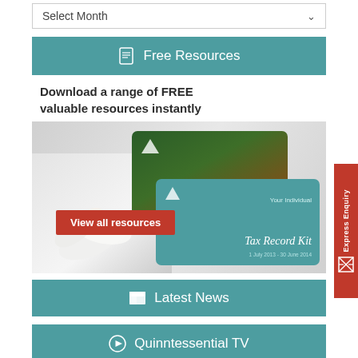Select Month
Free Resources
Download a range of FREE valuable resources instantly
[Figure (illustration): Image showing a Will Kit card and Tax Record Kit card with a white flower, and a red 'View all resources' button overlay]
Latest News
Quinntessential TV